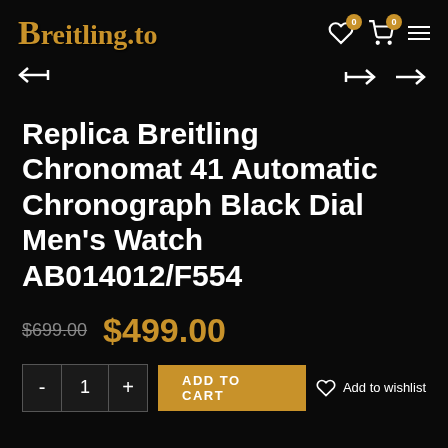Breitling.to
Replica Breitling Chronomat 41 Automatic Chronograph Black Dial Men’s Watch AB014012/F554
$699.00 $499.00
- 1 + ADD TO CART Add to wishlist